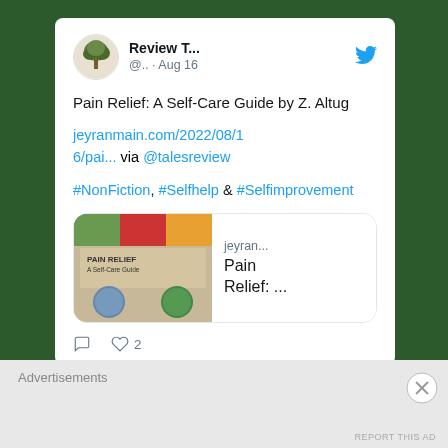[Figure (screenshot): Twitter/social media post screenshot showing Review Tales account posting about 'Pain Relief: A Self-Care Guide by Z. Altug' with a link to jeyranmain.com and hashtags #NonFiction, #Selfhelp, #Selfimprovement, with a link preview card, comment and heart (2 likes) icons at the bottom.]
Advertisements
REPORT THIS AD